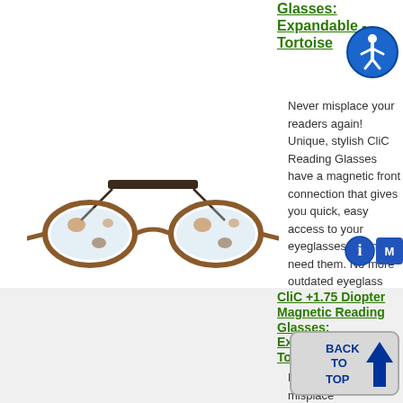Glasses: Expandable - Tortoise
[Figure (photo): Tortoise-colored magnetic reading glasses with expandable feature, shown from front/side angle, with magnetic front connector piece above]
Never misplace your readers again! Unique, stylish CliC Reading Glasses have a magnetic front connection that gives you quick, easy access to your eyeglasses when you need them. No more outdated eyeglass chains or uncomfortable elastic headbands - and no more hassles searching everywhere for your...
[Figure (illustration): Blue circular accessibility icon with white wheelchair user silhouette]
[Figure (illustration): Blue information 'i' button icon]
CliC +1.75 Diopter Magnetic Reading Glasses: Expandable Tortoise
Never misplace your readers again! Unique,
[Figure (illustration): Back to TOP button with blue upward arrow]